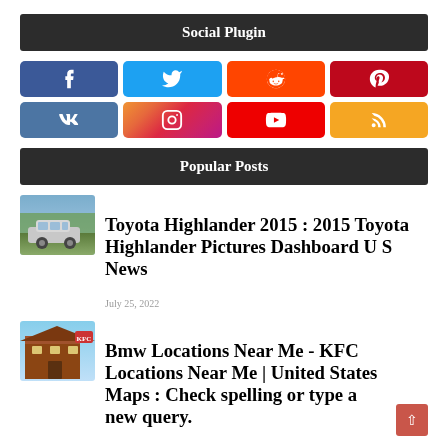Social Plugin
[Figure (infographic): Social media buttons grid: Facebook (blue), Twitter (light blue), Reddit (orange-red), Pinterest (dark red), VKontakte (blue), Instagram (gradient), YouTube (red), RSS (yellow/orange)]
Popular Posts
[Figure (photo): Toyota Highlander 2015 SUV parked outdoors]
Toyota Highlander 2015 : 2015 Toyota Highlander Pictures Dashboard U S News
July 25, 2022
[Figure (photo): KFC restaurant building exterior]
Bmw Locations Near Me - KFC Locations Near Me | United States Maps : Check spelling or type a new query.
August 15, 2021